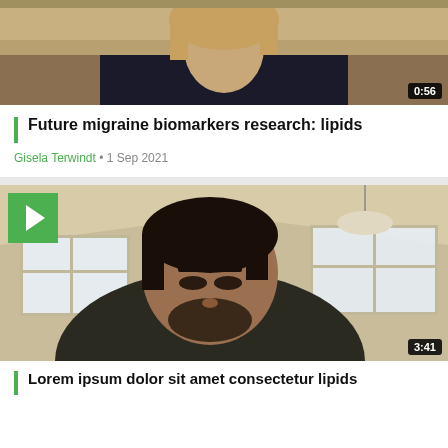[Figure (screenshot): Video thumbnail showing a woman with blonde hair in a dark top, video call style, with time badge 0:56]
Future migraine biomarkers research: lipids
Gisela Terwindt • 1 Sep 2021
[Figure (screenshot): Video thumbnail showing a man with dark hair and beard in a dark shirt, home office background with windows, play button overlay, time badge 3:41]
Lorem ipsum partial title text (partially visible at bottom)